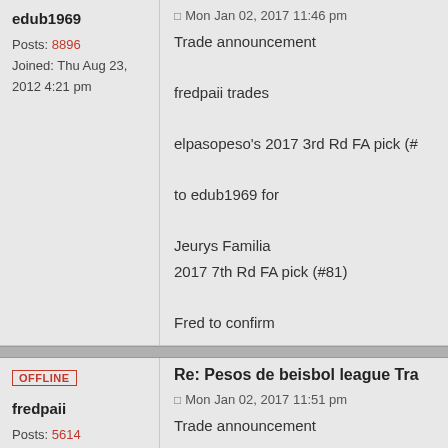edub1969
Posts: 8896
Joined: Thu Aug 23, 2012 4:21 pm
Mon Jan 02, 2017 11:46 pm
Trade announcement

fredpaii trades

elpasopeso's 2017 3rd Rd FA pick (#

to edub1969 for

Jeurys Familia
2017 7th Rd FA pick (#81)

Fred to confirm
OFFLINE
fredpaii
Posts: 5614
Joined: Thu Aug 23, 2012 4:54 pm
Re: Pesos de beisbol league Tra
Mon Jan 02, 2017 11:51 pm
Trade announcement

fredpaii trades

elpasopeso's 2017 3rd Rd FA pick (#